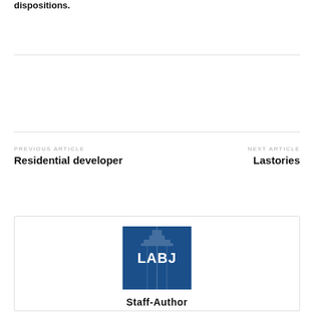dispositions.
PREVIOUS ARTICLE
Residential developer
NEXT ARTICLE
Lastories
[Figure (logo): LABJ logo — blue square with building silhouette watermark and white text 'LABJ']
Staff-Author